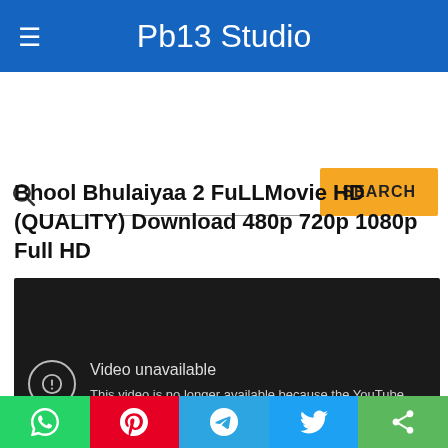Pb13 Studio
Bhool Bhulaiyaa 2 FuLLMovie HD (QUALITY) Download 480p 720p 1080p Full HD
[Figure (screenshot): Embedded YouTube video player showing 'Video unavailable' error message: 'This video is no longer available because the YouTube account associated with this video has been terminated.']
Social share buttons: WhatsApp, Pinterest, Telegram, Twitter, Share